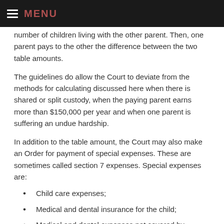MENU
number of children living with the other parent. Then, one parent pays to the other the difference between the two table amounts.
The guidelines do allow the Court to deviate from the methods for calculating discussed here when there is shared or split custody, when the paying parent earns more than $150,000 per year and when one parent is suffering an undue hardship.
In addition to the table amount, the Court may also make an Order for payment of special expenses. These are sometimes called section 7 expenses. Special expenses are:
Child care expenses;
Medical and dental insurance for the child;
Medical and dental expenses not covered by insurance;